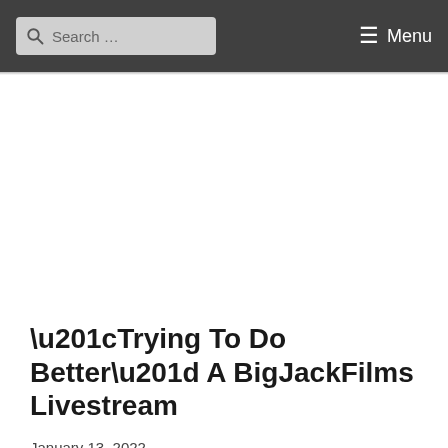Search ... ☰ Menu
“Trying To Do Better” A BigJackFilms Livestream
January 13, 2022
SUPPORT US ON PATREON TO EARN REWARDS AND